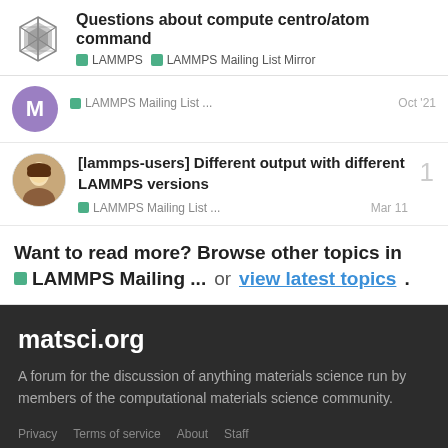Questions about compute centro/atom command | LAMMPS | LAMMPS Mailing List Mirror
LAMMPS Mailing List ... Oct '21
[lammps-users] Different output with different LAMMPS versions
LAMMPS Mailing List ... Mar 11
Want to read more? Browse other topics in LAMMPS Mailing ... or view latest topics.
matsci.org
A forum for the discussion of anything materials science run by members of the computational materials science community.
Privacy   Terms of service   About   Staff